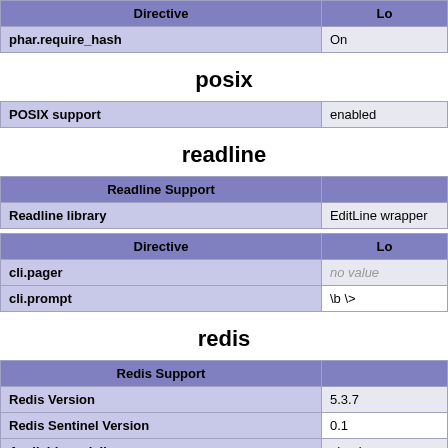| Directive | Lo |
| --- | --- |
| phar.require_hash | On |
posix
| POSIX support | enabled |
| --- | --- |
readline
| Readline Support |  |
| --- | --- |
| Readline library | EditLine wrapper |
| Directive | Lo |
| --- | --- |
| cli.pager | no value |
| cli.prompt | \b \> |
redis
| Redis Support |  |
| --- | --- |
| Redis Version | 5.3.7 |
| Redis Sentinel Version | 0.1 |
| Available serializers | php, json |